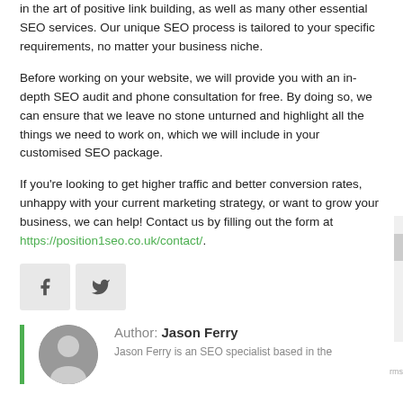in the art of positive link building, as well as many other essential SEO services. Our unique SEO process is tailored to your specific requirements, no matter your business niche.
Before working on your website, we will provide you with an in-depth SEO audit and phone consultation for free. By doing so, we can ensure that we leave no stone unturned and highlight all the things we need to work on, which we will include in your customised SEO package.
If you're looking to get higher traffic and better conversion rates, unhappy with your current marketing strategy, or want to grow your business, we can help! Contact us by filling out the form at https://position1seo.co.uk/contact/.
[Figure (other): Social share buttons: Facebook and Twitter icons]
Author: Jason Ferry
Jason Ferry is an SEO specialist based in the